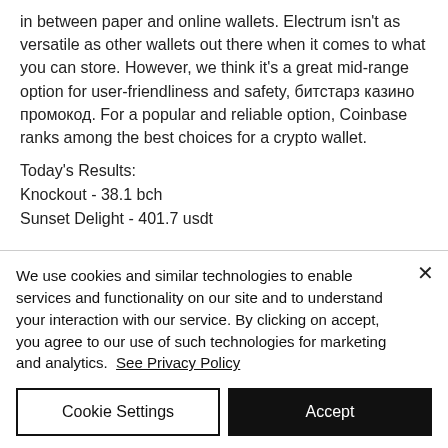in between paper and online wallets. Electrum isn't as versatile as other wallets out there when it comes to what you can store. However, we think it's a great mid-range option for user-friendliness and safety, битстарз казино промокод. For a popular and reliable option, Coinbase ranks among the best choices for a crypto wallet.
Today's Results:
Knockout - 38.1 bch
Sunset Delight - 401.7 usdt
We use cookies and similar technologies to enable services and functionality on our site and to understand your interaction with our service. By clicking on accept, you agree to our use of such technologies for marketing and analytics.  See Privacy Policy